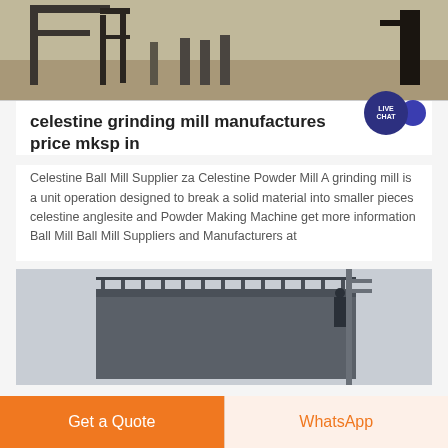[Figure (photo): Top partial photo of industrial machinery/construction equipment on ground with metal frame structures visible]
celestine grinding mill manufactures price mksp in
Celestine Ball Mill Supplier za Celestine Powder Mill A grinding mill is a unit operation designed to break a solid material into smaller pieces celestine anglesite and Powder Making Machine get more information Ball Mill Ball Mill Suppliers and Manufacturers at
[Figure (photo): Partial photo of industrial building structure with metal scaffolding/railings and crane against grey sky]